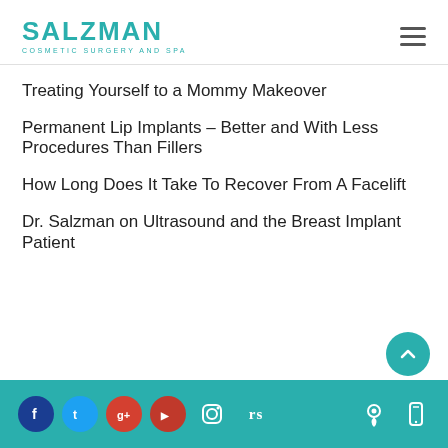SALZMAN COSMETIC SURGERY AND SPA
Treating Yourself to a Mommy Makeover
Permanent Lip Implants – Better and With Less Procedures Than Fillers
How Long Does It Take To Recover From A Facelift
Dr. Salzman on Ultrasound and the Breast Implant Patient
Social media links and contact icons